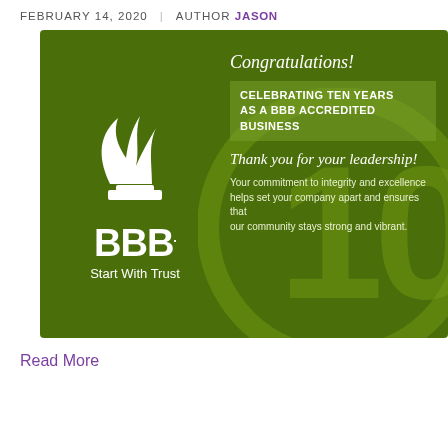FEBRUARY 14, 2020  |  AUTHOR JASON
[Figure (illustration): BBB (Better Business Bureau) congratulations certificate card on green background celebrating 10 years as a BBB Accredited Business. Features the BBB flame logo, 'BBB. Start With Trust' text, 'Congratulations!', 'CELEBRATING TEN YEARS AS A BBB ACCREDITED BUSINESS', 'Thank you for your leadership!', body text about commitment to integrity, and a large '10' watermark.]
Read More